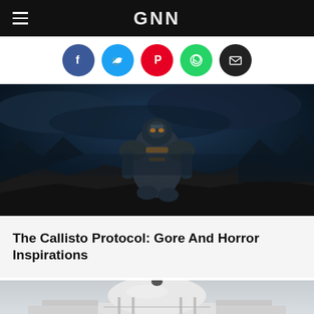GNN
[Figure (infographic): Social media share icons in colored circles: Facebook (blue), Twitter (light blue), Pinterest (red), WhatsApp (green), Email (black)]
[Figure (photo): Dark sci-fi video game screenshot showing a mechanical armored figure kneeling on rocky alien terrain under a stormy sky, from The Callisto Protocol]
The Callisto Protocol: Gore And Horror Inspirations
[Figure (photo): Photo of a white dome-shaped building or pavilion structure with an octagonal base and a large hemispherical dome roof, under an overcast sky]